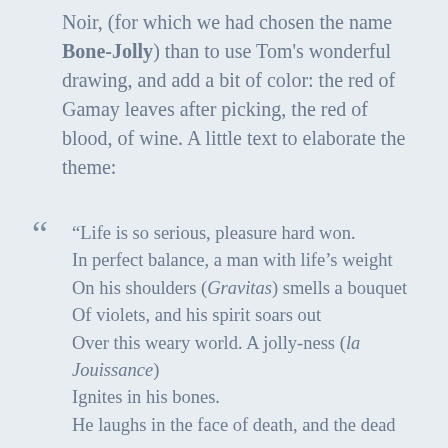Noir, (for which we had chosen the name Bone-Jolly) than to use Tom's wonderful drawing, and add a bit of color: the red of Gamay leaves after picking, the red of blood, of wine. A little text to elaborate the theme:
“Life is so serious, pleasure hard won. In perfect balance, a man with life’s weight On his shoulders (Gravitas) smells a bouquet Of violets, and his spirit soars out Over this weary world. A jolly-ness (la Jouissance) Ignites in his bones. He laughs in the face of death, and the dead